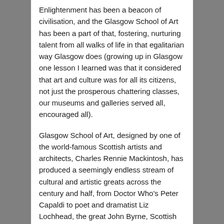Enlightenment has been a beacon of civilisation, and the Glasgow School of Art has been a part of that, fostering, nurturing talent from all walks of life in that egalitarian way Glasgow does (growing up in Glasgow one lesson I learned was that it considered that art and culture was for all its citizens, not just the prosperous chattering classes, our museums and galleries served all, encouraged all).
Glasgow School of Art, designed by one of the world-famous Scottish artists and architects, Charles Rennie Mackintosh, has produced a seemingly endless stream of cultural and artistic greats across the century and half, from Doctor Who's Peter Capaldi to poet and dramatist Liz Lochhead, the great John Byrne, Scottish comics god Frank Quietely, and Norman McLaren. Glasgow's famously egalitarian approach to both science and the arts has helped foster and produce world-class creative talent, nurtured in an environment designed by a fellow artist and architect.
This is heartbreaking, it feels like someone has pierced